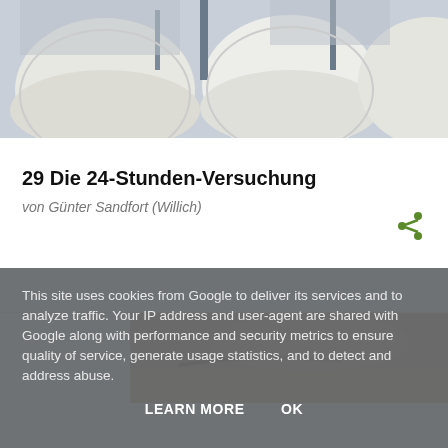[Figure (photo): Top banner photo showing close-up of white construction helmets/hard hats with architectural background]
29 Die 24-Stunden-Versuchung
von Günter Sandfort (Willich)
[Figure (photo): Partial photo showing close-up of a person's forehead/eyes area]
This site uses cookies from Google to deliver its services and to analyze traffic. Your IP address and user-agent are shared with Google along with performance and security metrics to ensure quality of service, generate usage statistics, and to detect and address abuse.
LEARN MORE   OK